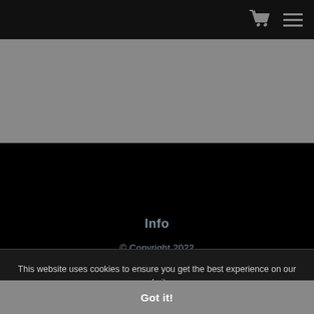[Figure (screenshot): Gray banner area below the navigation header]
Info
© Copyright 2022
All Rights Reserved
This website uses cookies to ensure you get the best experience on our website.
Got it!